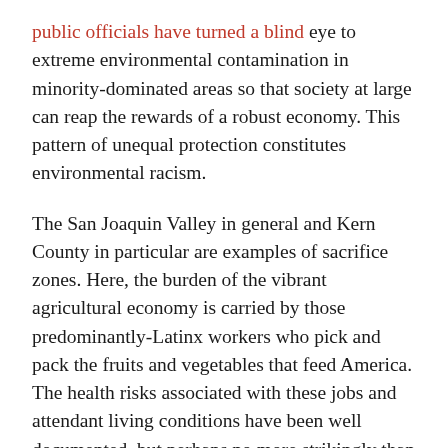public officials have turned a blind eye to extreme environmental contamination in minority-dominated areas so that society at large can reap the rewards of a robust economy. This pattern of unequal protection constitutes environmental racism.
The San Joaquin Valley in general and Kern County in particular are examples of sacrifice zones. Here, the burden of the vibrant agricultural economy is carried by those predominantly-Latinx workers who pick and pack the fruits and vegetables that feed America. The health risks associated with these jobs and attendant living conditions have been well documented, but perhaps no more strikingly than by the CHARGE study conducted by UC Davis' MIND Institute, and led by epidemiologist Irva Hertz-Picciotto, PhD.